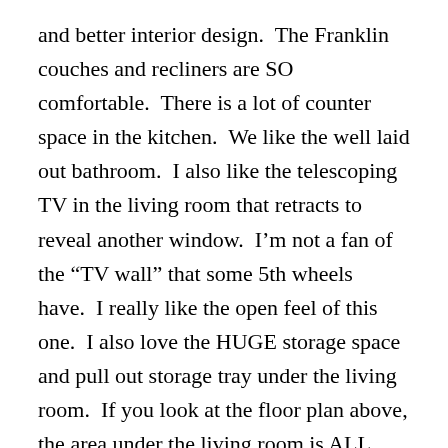and better interior design.  The Franklin couches and recliners are SO comfortable.  There is a lot of counter space in the kitchen.  We like the well laid out bathroom.  I also like the telescoping TV in the living room that retracts to reveal another window.  I’m not a fan of the “TV wall” that some 5th wheels have.  I really like the open feel of this one.  I also love the HUGE storage space and pull out storage tray under the living room.  If you look at the floor plan above, the area under the living room is ALL storage.
What do I NOT like about this unit?
Frankly, the construction seems like it could be a little better.  The walls sound very hollow and cheap when I